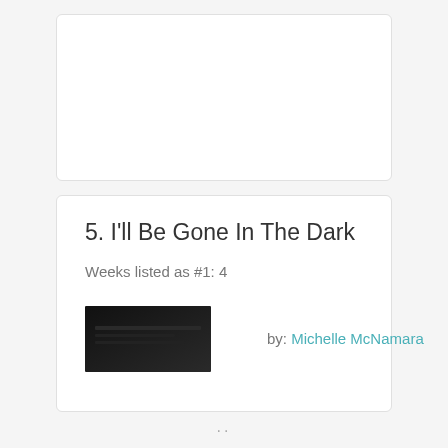[Figure (other): Top card region — white rounded rectangle card, empty (continuation of previous entry)]
5. I'll Be Gone In The Dark
Weeks listed as #1: 4
[Figure (photo): Dark book cover thumbnail for 'I'll Be Gone In The Dark']
by: Michelle McNamara